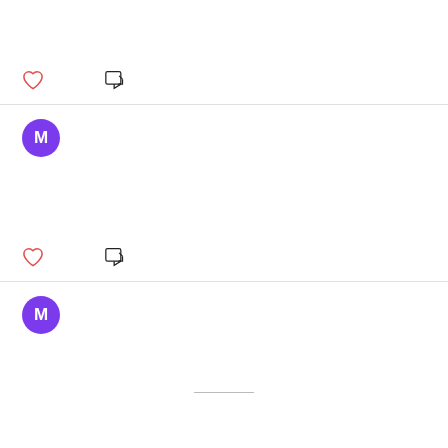[Figure (infographic): Heart (like) icon in red outline and a reply/comment arrow icon in black outline, forming an action bar row]
[Figure (infographic): Purple circular avatar with white letter M]
[Figure (infographic): Heart (like) icon in red outline and a reply/comment arrow icon in black outline, forming a second action bar row]
[Figure (infographic): Purple circular avatar with white letter M, second instance]